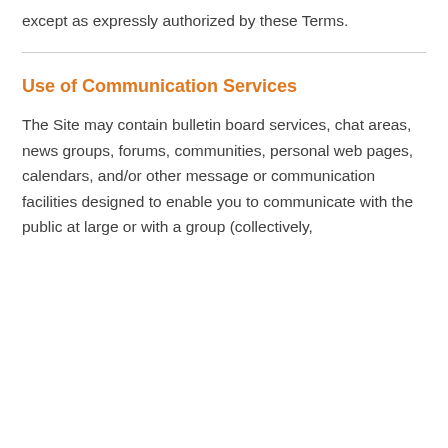except as expressly authorized by these Terms.
Use of Communication Services
The Site may contain bulletin board services, chat areas, news groups, forums, communities, personal web pages, calendars, and/or other message or communication facilities designed to enable you to communicate with the public at large or with a group (collectively,